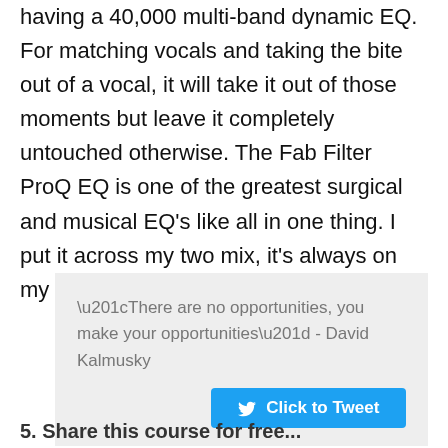having a 40,000 multi-band dynamic EQ. For matching vocals and taking the bite out of a vocal, it will take it out of those moments but leave it completely untouched otherwise. The Fab Filter ProQ EQ is one of the greatest surgical and musical EQ's like all in one thing. I put it across my two mix, it's always on my two bus and I love it.
“There are no opportunities, you make your opportunities” - David Kalmusky
5. Share this course for free...